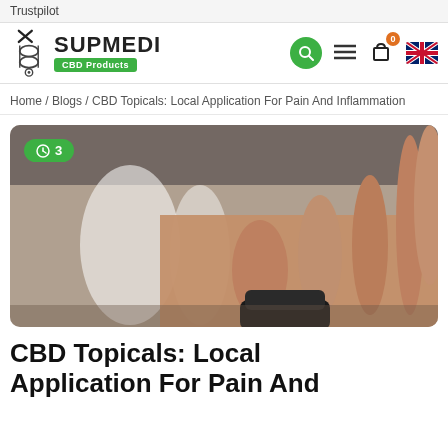Trustpilot
[Figure (logo): Supmedi CBD Products logo with DNA-like icon and green badge]
Home / Blogs / CBD Topicals: Local Application For Pain And Inflammation
[Figure (photo): Close-up of a hand holding a small black container (CBD topical product), blurred background]
CBD Topicals: Local Application For Pain And